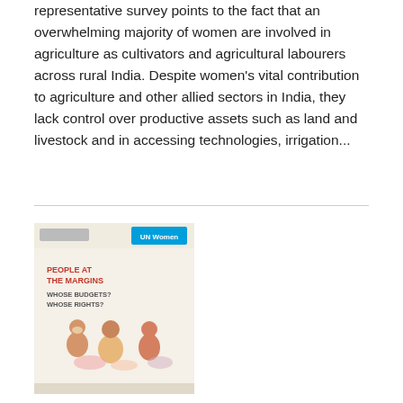representative survey points to the fact that an overwhelming majority of women are involved in agriculture as cultivators and agricultural labourers across rural India. Despite women's vital contribution to agriculture and other allied sectors in India, they lack control over productive assets such as land and livestock and in accessing technologies, irrigation...
[Figure (illustration): Book cover for 'People at the Margins: Whose Budgets? Whose Rights?' showing illustrated figures of people from marginalized communities, with logos of publishers at the top.]
People at the Margins: Whose Budget? Whose Rights?- The Transgender Question in India: Policy and Budgetary Priorities
Date: Thursday, 23 November 2017
The transgender (TG) community is one of the most marginalized social groups in India. Historically subjected to structural violence, the TG community continues to face widespread stigma and discrimination at the hands of their own families, society and even the state. Despite some recent progressive measures by the government, the community's social mainstreaming and access to rights and entitlements remains shrouded in challenges. The